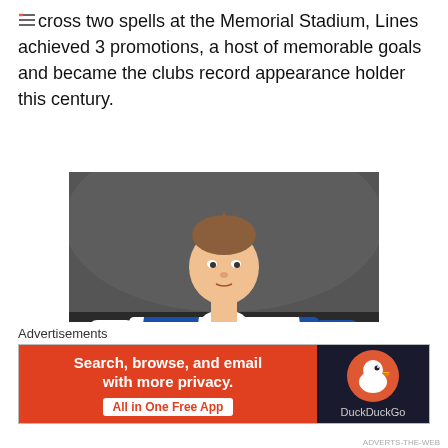Across two spells at the Memorial Stadium, Lines achieved 3 promotions, a host of memorable goals and became the clubs record appearance holder this century.
[Figure (photo): A football player wearing a blue and white quartered Bristol Rovers kit with 'N-GAGED Logistics Training' sponsor, playing in a match.]
Advertisements
[Figure (other): DuckDuckGo advertisement banner: 'Search, browse, and email with more privacy. All in One Free App' on orange background with DuckDuckGo duck logo on dark background.]